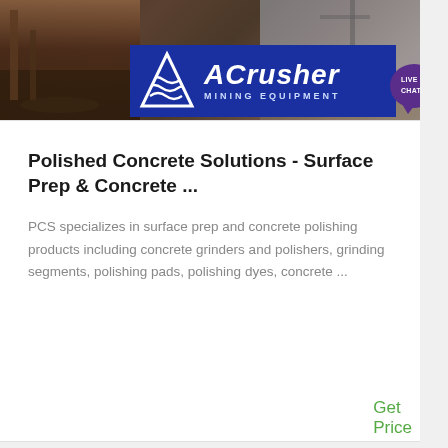[Figure (photo): Banner image showing a mining/industrial site with heavy machinery and equipment in the background, overlaid with the ACrusher Mining Equipment logo on a blue background, and a live chat bubble icon in the top right corner.]
Polished Concrete Solutions - Surface Prep & Concrete ...
PCS specializes in surface prep and concrete polishing products including concrete grinders and polishers, grinding segments, polishing pads, polishing dyes, concrete ...
Get Price